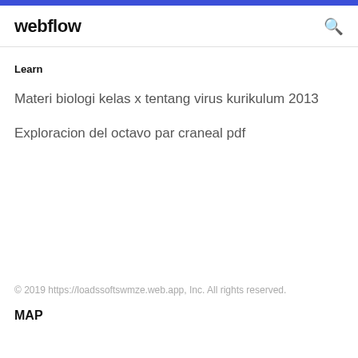webflow
Learn
Materi biologi kelas x tentang virus kurikulum 2013
Exploracion del octavo par craneal pdf
© 2019 https://loadssoftswmze.web.app, Inc. All rights reserved.
MAP